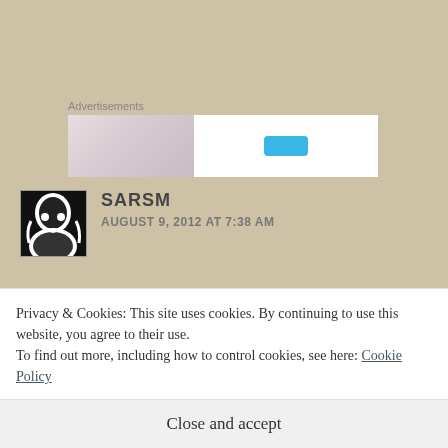Advertisements
[Figure (screenshot): Advertisement banner with pinkish-grey left half and white right half containing a blue icon]
SARSM
AUGUST 9, 2012 AT 7:38 AM
Just brilliant!
Privacy & Cookies: This site uses cookies. By continuing to use this website, you agree to their use.
To find out more, including how to control cookies, see here: Cookie Policy
Close and accept